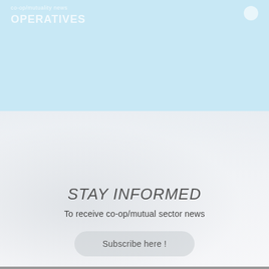[Figure (screenshot): Top light blue section with faded white text showing a website header with 'OPERATIVES' and a small circle icon on the right]
STAY INFORMED
To receive co-op/mutual sector news
Subscribe here !